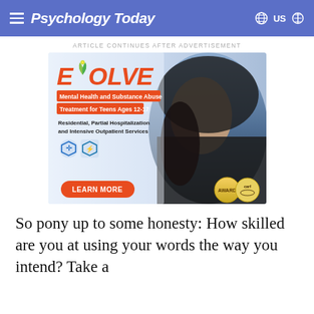Psychology Today
ARTICLE CONTINUES AFTER ADVERTISEMENT
[Figure (illustration): Evolve treatment center advertisement showing a teen girl in a hoodie, with text about Mental Health and Substance Abuse Treatment for Teens Ages 12-17, Residential, Partial Hospitalization and Intensive Outpatient Services, insurance logos, a Learn More button, and accreditation medals.]
So pony up to some honesty: How skilled are you at using your words the way you intend? Take a